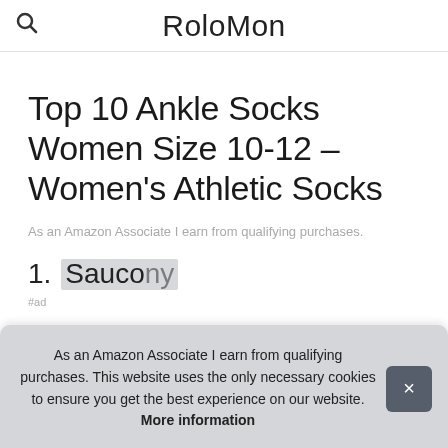RoloMon
Top 10 Ankle Socks Women Size 10-12 – Women's Athletic Socks
As an Amazon Associate I earn from qualifying purchases.
1. Saucony
#ad
As an Amazon Associate I earn from qualifying purchases. This website uses the only necessary cookies to ensure you get the best experience on our website. More information